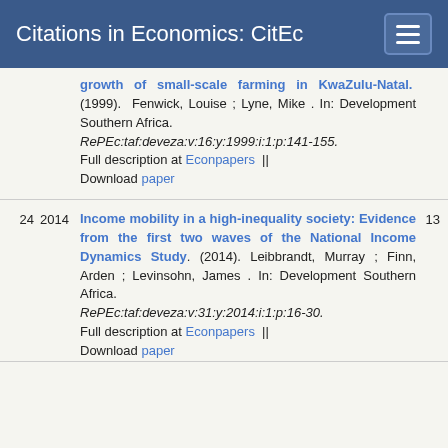Citations in Economics: CitEc
growth of small-scale farming in KwaZulu-Natal. (1999). Fenwick, Louise ; Lyne, Mike . In: Development Southern Africa. RePEc:taf:deveza:v:16:y:1999:i:1:p:141-155. Full description at Econpapers || Download paper
24 2014 Income mobility in a high-inequality society: Evidence from the first two waves of the National Income Dynamics Study. (2014). Leibbrandt, Murray ; Finn, Arden ; Levinsohn, James . In: Development Southern Africa. RePEc:taf:deveza:v:31:y:2014:i:1:p:16-30. Full description at Econpapers || Download paper